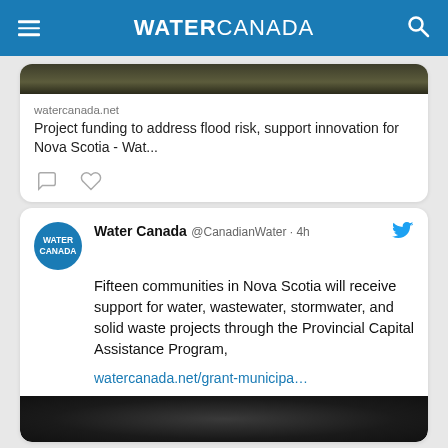WATER CANADA
[Figure (screenshot): Partial tweet card showing a dark nature image, watercanada.net URL, and article title 'Project funding to address flood risk, support innovation for Nova Scotia - Wat...' with comment and heart icons]
Water Canada @CanadianWater · 4h
Fifteen communities in Nova Scotia will receive support for water, wastewater, stormwater, and solid waste projects through the Provincial Capital Assistance Program,
watercanada.net/grant-municipa...
[Figure (photo): Bottom of second tweet showing dark circular tunnel/pipe image]